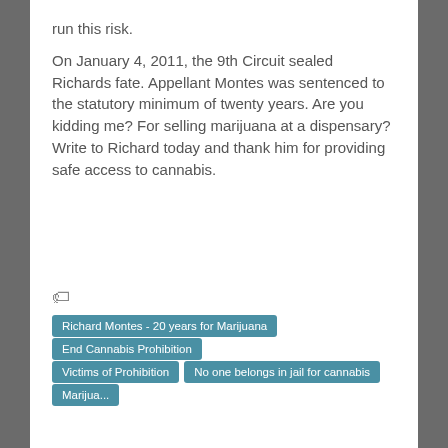run this risk.
On January 4, 2011, the 9th Circuit sealed Richards fate. Appellant Montes was sentenced to the statutory minimum of twenty years. Are you kidding me? For selling marijuana at a dispensary? Write to Richard today and thank him for providing safe access to cannabis.
Richard Montes - 20 years for Marijuana
End Cannabis Prohibition
Victims of Prohibition
No one belongs in jail for cannabis
Marijuana